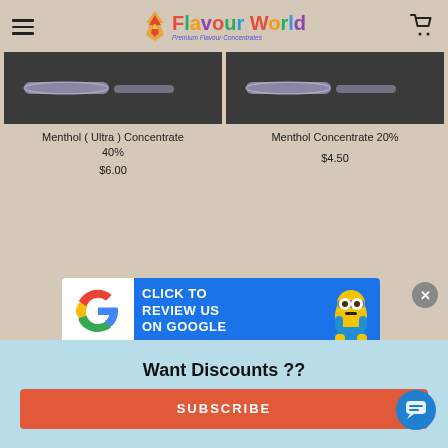Flavour World - Premium Flavour Concentrates
[Figure (photo): Product photo of Menthol (Ultra) Concentrate 40% - glass tube on dark background]
Menthol ( Ultra ) Concentrate 40%
$6.00
[Figure (photo): Product photo of Menthol Concentrate 20% - glass tube on dark background]
Menthol Concentrate 20%
$4.50
[Figure (screenshot): Click to Review Us on Google banner with Google G logo and Minion character]
Want Discounts ??
SUBSCRIBE